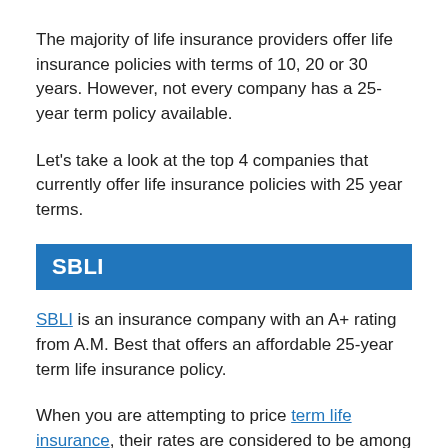The majority of life insurance providers offer life insurance policies with terms of 10, 20 or 30 years. However, not every company has a 25-year term policy available.
Let's take a look at the top 4 companies that currently offer life insurance policies with 25 year terms.
SBLI
SBLI is an insurance company with an A+ rating from A.M. Best that offers an affordable 25-year term life insurance policy.
When you are attempting to price term life insurance, their rates are considered to be among the best.